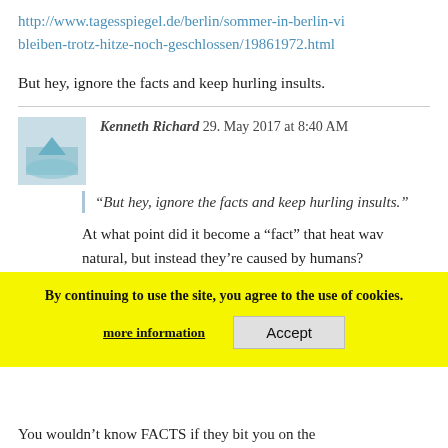http://www.tagesspiegel.de/berlin/sommer-in-berlin-vi bleiben-trotz-hitze-noch-geschlossen/19861972.html
But hey, ignore the facts and keep hurling insults.
Kenneth Richard 29. May 2017 at 8:40 AM
“But hey, ignore the facts and keep hurling insults.”
At what point did it become a “fact” that heat waves are not natural, but instead they’re caused by humans?
AndyG55 29. May 2017 at 9:14 AM | Perma
By continuing to use the site, you agree to the use of cookies.
more information
Accept
day wave.
You wouldn’t know FACTS if they bit you on the